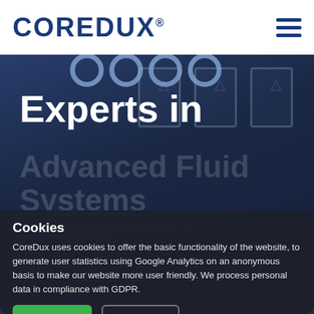COREDUX®
[Figure (photo): Industrial fluid systems equipment photo with dark blue overlay, showing pipe connections and industrial containers in background]
Experts in
Advanced Fluid Systems
Always trying to push the limit
Cookies
CoreDux uses cookies to offer the basic functionality of the website, to generate user statistics using Google Analytics on an anonymous basis to make our website more user friendly. We process personal data in compliance with GDPR.
Approve  Settings